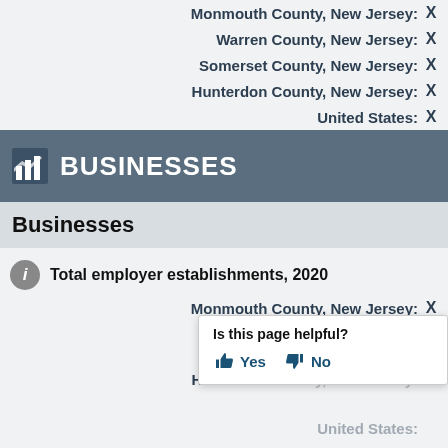Monmouth County, New Jersey: X
Warren County, New Jersey: X
Somerset County, New Jersey: X
Hunterdon County, New Jersey: X
United States: X
BUSINESSES
Businesses
Total employer establishments, 2020
Monmouth County, New Jersey: X
Warren County, New Jersey: X
Somerset County, New Jersey: X
Hunterdon County, New Jersey: X
Is this page helpful? Yes No